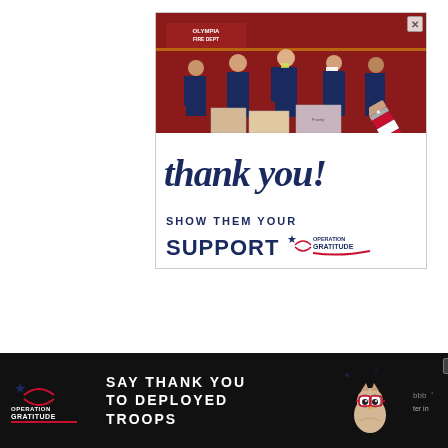[Figure (photo): Operation Gratitude advertisement showing firefighters standing in front of a fire truck with Thank You message and Show Them Your Support text with Operation Gratitude logo. Features a decorative patriotic pencil graphic.]
[Figure (photo): Bottom banner advertisement for Operation Gratitude: SAY THANK YOU TO DEPLOYED TROOPS with Operation Gratitude logo on dark background, with an owl mascot graphic.]